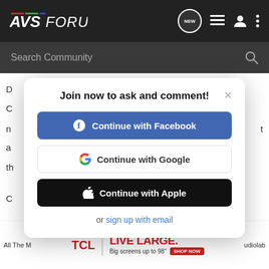AVSForum — Search Community
[Figure (screenshot): AVSForum website header with logo, NEW chat bubble icon, list icon, user icon, three-dots menu icon on dark background, and a Search Community search bar below.]
Join now to ask and comment!
Continue with Facebook
Continue with Google
Continue with Apple
or sign up with email
[Figure (photo): TCL advertisement banner: TCL logo | LIVE LARGE. Big screens up to 98" SHOP NOW]
All The M ... udiolab